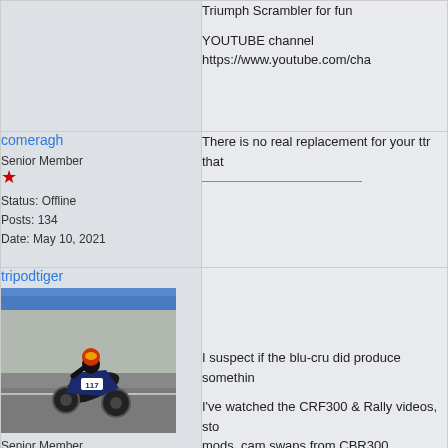Triumph Scrambler for fun
YOUTUBE channel https://www.youtube.com/ch...
comeragh
Senior Member
Status: Offline
Posts: 134
Date: May 10, 2021
There is no real replacement for your ttr that...
tripodtiger
Senior Member
Status: Offline
Posts: 149
Date: August 8th
[Figure (photo): Motorcycle racer on track, number 117, leaning into a corner at a racing circuit with blue barriers in the background.]
I suspect if the blu-cru did produce something...
I've watched the CRF300 & Rally videos, sto... mods, cam swaps from CBR300.
Well, if they were so great, why so many mo...
My biggest gripe with the TTR is oil capacity.
I'd like to see a Tenere 300. Re-tuned MT03... aren't up to a bike that can easily go faster th...
Beyond that, there is a potentially huge mark... enduro bike. What's between? DR/KLR650 t...